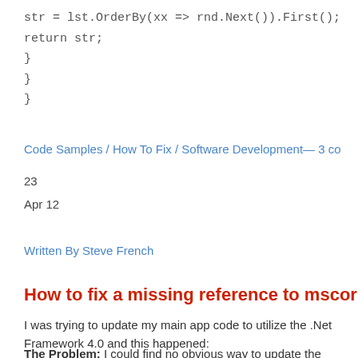str = lst.OrderBy(xx => rnd.Next()).First();
return str;
}
}
}
Code Samples / How To Fix / Software Development— 3 co
23
Apr 12
Written By Steve French
How to fix a missing reference to mscorlib in Visual Stu
I was trying to update my main app code to utilize the .Net Framework 4.0 and this happened:
The Problem: I could find no obvious way to update the